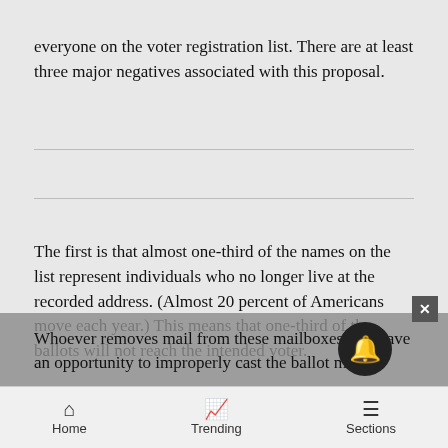everyone on the voter registration list. There are at least three major negatives associated with this proposal.
The first is that almost one-third of the names on the list represent individuals who no longer live at the recorded address. (Almost 20 percent of Americans move each year.) This means that one-third of the ballots will not reach the intended voter.
Whoever removes mail from these mailboxes will have an opportunity to improperly cast the ballot meant
Home  Trending  Sections